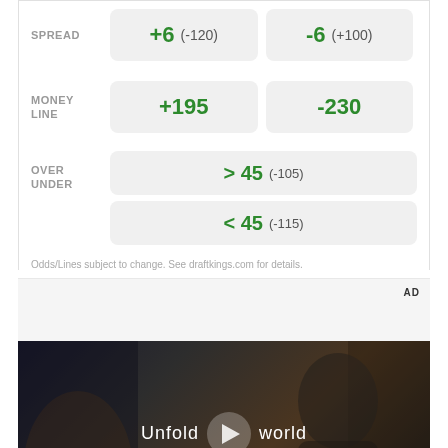|  | Team 1 | Team 2 |
| --- | --- | --- |
| SPREAD | +6  (-120) | -6  (+100) |
| MONEY LINE | +195 | -230 |
| OVER UNDER | > 45  (-105) / < 45  (-115) |  |
Odds/Lines subject to change. See draftkings.com for details.
[Figure (other): Advertisement banner area with AD label in top right corner]
[Figure (photo): Video thumbnail showing a person in a car holding a foldable phone/device. Text overlay reads 'Unfold your world' with a play button in the center.]